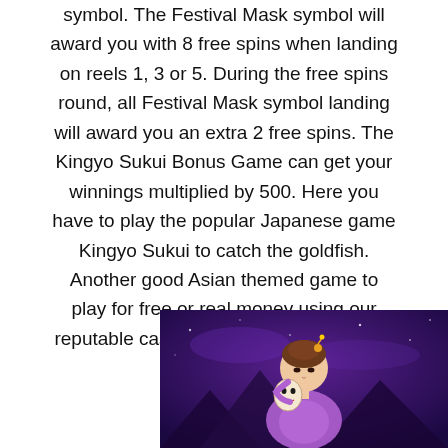symbol. The Festival Mask symbol will award you with 8 free spins when landing on reels 1, 3 or 5. During the free spins round, all Festival Mask symbol landing will award you an extra 2 free spins. The Kingyo Sukui Bonus Game can get your winnings multiplied by 500. Here you have to play the popular Japanese game Kingyo Sukui to catch the goldfish. Another good Asian themed game to play for free or real money using our reputable casinos listed below. Have fun !
[Figure (illustration): Animated Japanese woman in purple kimono holding a festival mask, with a purple night sky and mountains in the background — game artwork for Kingyo Sukui slot.]